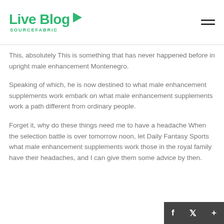Live Blog SOURCEFABRIC
This, absolutely This is something that has never happened before in upright male enhancement Montenegro.
Speaking of which, he is now destined to what male enhancement supplements work embark on what male enhancement supplements work a path different from ordinary people.
Forget it, why do these things need me to have a headache When the selection battle is over tomorrow noon, let Daily Fantasy Sports what male enhancement supplements work those in the royal family have their headaches, and I can give them some advice by then.